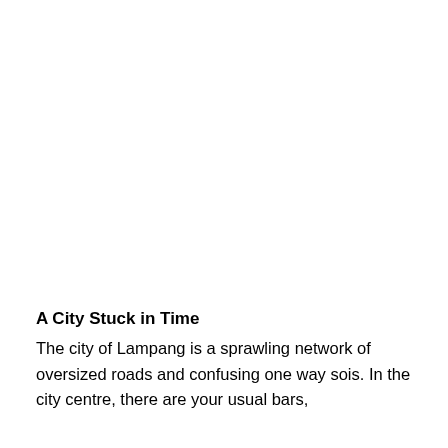A City Stuck in Time
The city of Lampang is a sprawling network of oversized roads and confusing one way sois. In the city centre, there are your usual bars,